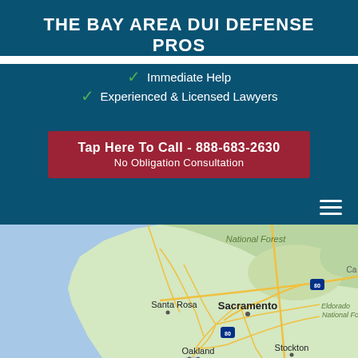THE BAY AREA DUI DEFENSE PROS
Immediate Help
Experienced & Licensed Lawyers
Tap Here To Call - 888-683-2630
No Obligation Consultation
[Figure (map): Google Map showing Northern California Bay Area including cities: Sacramento, Santa Rosa, Oakland, San Francisco, San Jose, Stockton, with National Forest and Eldorado National Forest, Stan National Forest labels visible. Highway 80 and 5 marked.]